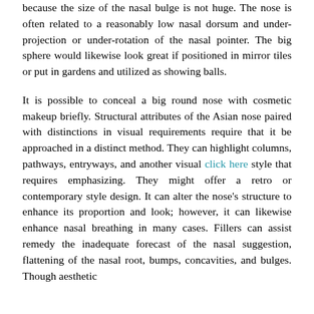because the size of the nasal bulge is not huge. The nose is often related to a reasonably low nasal dorsum and under-projection or under-rotation of the nasal pointer. The big sphere would likewise look great if positioned in mirror tiles or put in gardens and utilized as showing balls.
It is possible to conceal a big round nose with cosmetic makeup briefly. Structural attributes of the Asian nose paired with distinctions in visual requirements require that it be approached in a distinct method. They can highlight columns, pathways, entryways, and another visual click here style that requires emphasizing. They might offer a retro or contemporary style design. It can alter the nose's structure to enhance its proportion and look; however, it can likewise enhance nasal breathing in many cases. Fillers can assist remedy the inadequate forecast of the nasal suggestion, flattening of the nasal root, bumps, concavities, and bulges. Though aesthetic